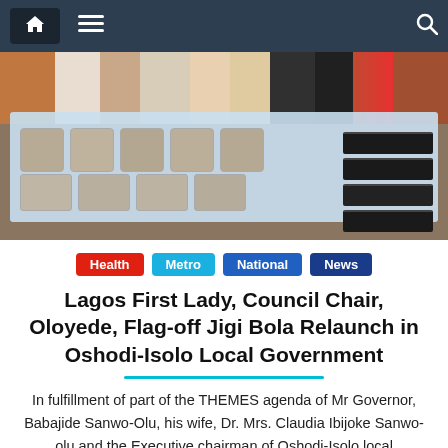Navigation bar with home, menu, and search icons
[Figure (photo): People standing around tables covered with light blue tablecloths displaying items, with stacked dark cases on the right side]
Health
Metro
National
News
Lagos First Lady, Council Chair, Oloyede, Flag-off Jigi Bola Relaunch in Oshodi-Isolo Local Government
In fulfillment of part of the THEMES agenda of Mr Governor, Babajide Sanwo-Olu, his wife, Dr. Mrs. Claudia Ibijoke Sanwo-olu and the Executive chairman of Oshodi-Isolo local government, Otunba Kehinde Almaroof Oloyede, on Monday